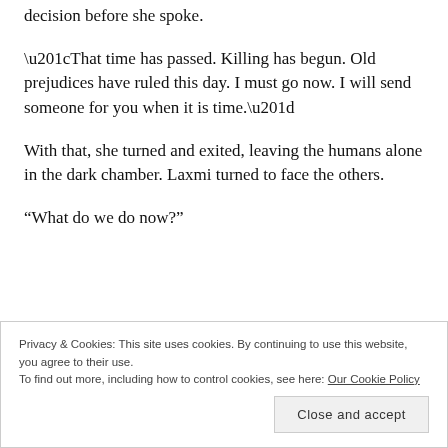decision before she spoke.
“That time has passed. Killing has begun. Old prejudices have ruled this day. I must go now. I will send someone for you when it is time.”
With that, she turned and exited, leaving the humans alone in the dark chamber. Laxmi turned to face the others.
“What do we do now?”
Privacy & Cookies: This site uses cookies. By continuing to use this website, you agree to their use.
To find out more, including how to control cookies, see here: Our Cookie Policy